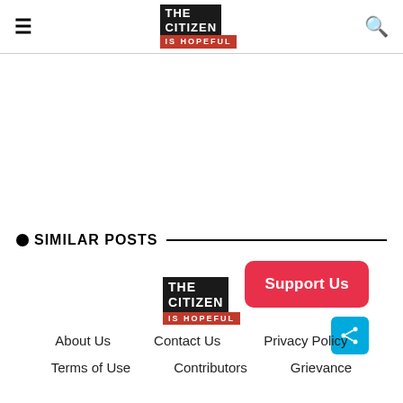THE CITIZEN IS HOPEFUL
SIMILAR POSTS
[Figure (logo): The Citizen Is Hopeful logo - black block with white text THE CITIZEN and red block with white text IS HOPEFUL]
[Figure (other): Support Us button - red rounded rectangle with white text]
[Figure (other): Share button - blue square with white share icon]
About Us   Contact Us   Privacy Policy
Terms of Use   Contributors   Grievance